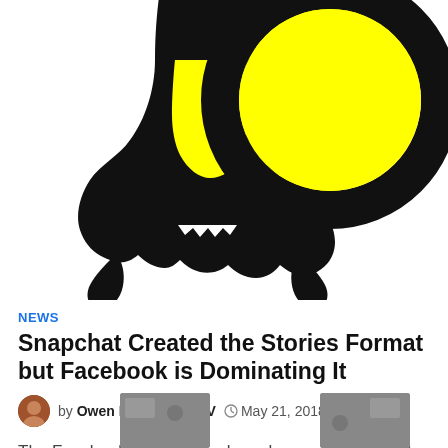[Figure (logo): Snapchat ghost logo — black ghost outline on yellow/white background, partially cropped at top]
NEWS
Snapchat Created the Stories Format but Facebook is Dominating It
by Owen E. Richason IV   May 21, 2018
The Facebook Stories user base keeps growing and now it appears it will overtake the very format its rival Snapchat first created… Snapchat introduced the …
[Figure (photo): Small thumbnail image, bottom left]
[Figure (photo): Small thumbnail image, bottom right]